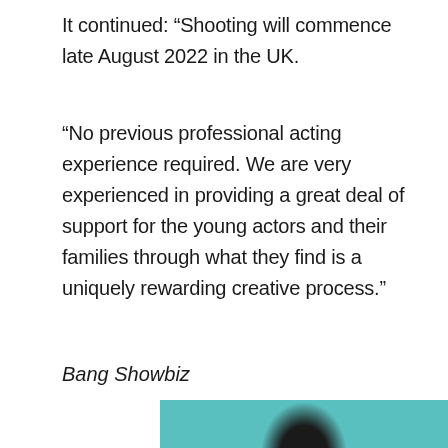It continued: “Shooting will commence late August 2022 in the UK.
“No previous professional acting experience required. We are very experienced in providing a great deal of support for the young actors and their families through what they find is a uniquely rewarding creative process.”
Bang Showbiz
[Figure (photo): Partial photo of a person with dark hair against a teal/turquoise background, cropped at bottom of page]